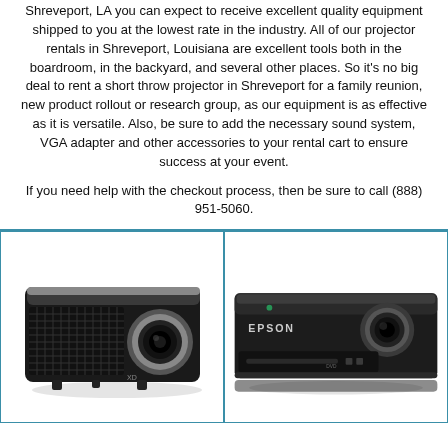Shreveport, LA you can expect to receive excellent quality equipment shipped to you at the lowest rate in the industry. All of our projector rentals in Shreveport, Louisiana are excellent tools both in the boardroom, in the backyard, and several other places. So it's no big deal to rent a short throw projector in Shreveport for a family reunion, new product rollout or research group, as our equipment is as effective as it is versatile. Also, be sure to add the necessary sound system, VGA adapter and other accessories to your rental cart to ensure success at your event.
If you need help with the checkout process, then be sure to call (888) 951-5060.
[Figure (photo): Black Dell projector with lens visible, front-facing, on white background]
[Figure (photo): Epson black projector with DVD drive slot visible, side angle view]